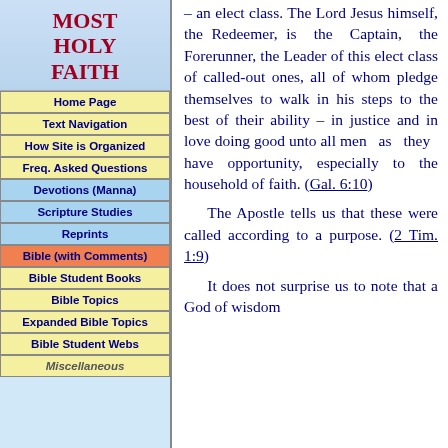MOST HOLY FAITH
Home Page
Text Navigation
How Site is Organized
Freq. Asked Questions
Devotions (Manna)
Scripture Studies
Reprints
Bible (with Comments)
Bible Student Books
Bible Topics
Expanded Bible Topics
Bible Student Webs
Miscellaneous
– an elect class. The Lord Jesus himself, the Redeemer, is the Captain, the Forerunner, the Leader of this elect class of called-out ones, all of whom pledge themselves to walk in his steps to the best of their ability – in justice and in love doing good unto all men as they have opportunity, especially to the household of faith. (Gal. 6:10)
The Apostle tells us that these were called according to a purpose. (2 Tim. 1:9)
It does not surprise us to note that a God of wisdom